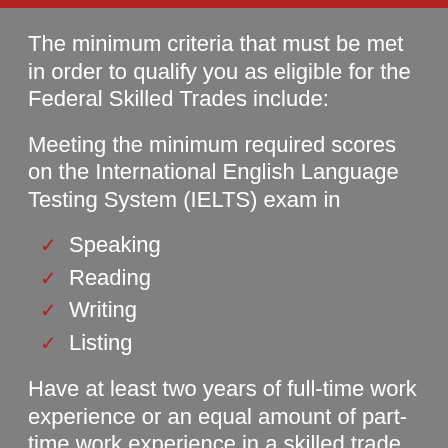The minimum criteria that must be met in order to qualify you as eligible for the Federal Skilled Trades include:
Meeting the minimum required scores on the International English Language Testing System (IELTS) exam in
Speaking
Reading
Writing
Listing
Have at least two years of full-time work experience or an equal amount of part-time work experience in a skilled trade within